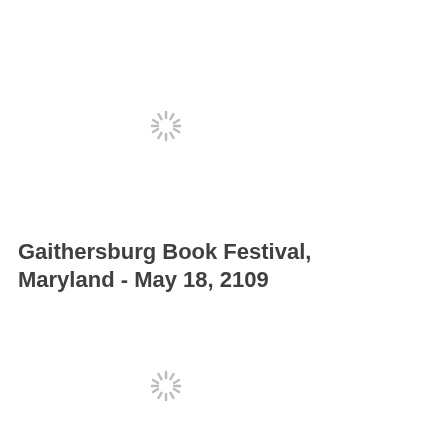[Figure (other): Loading spinner icon (sun/asterisk style) near top of page]
Gaithersburg Book Festival, Maryland - May 18, 2109
[Figure (other): Loading spinner icon (sun/asterisk style) near bottom of page]